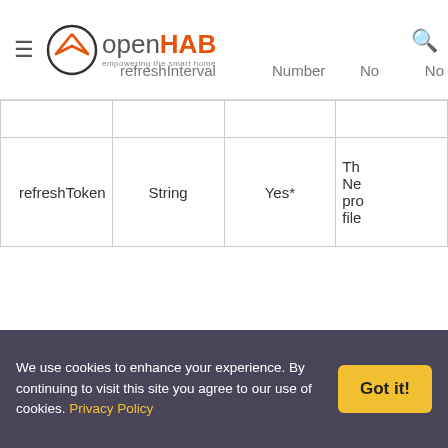openHAB — empowering the smart home
| Parameter | Type | Required | Description |
| --- | --- | --- | --- |
| refreshInterval | Number | No | No… |
| refreshToken | String | Yes* | Th Ne pro file |
(*) Strictly said this parameter is not mandatory at first run, until you grant your binding on Netatmo Connect. Once present, you'll not have to grant again.
Configure the Bridge
1. Complete the Netatmo Application Registration if
We use cookies to enhance your experience. By continuing to visit this site you agree to our use of cookies. Privacy Policy